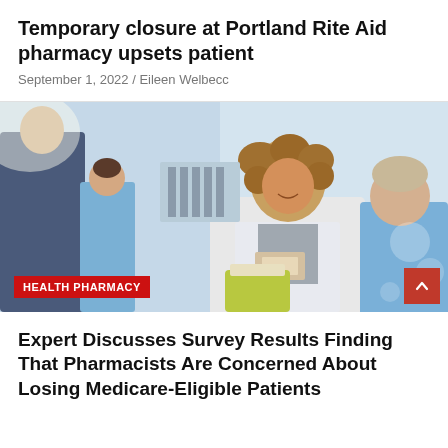Temporary closure at Portland Rite Aid pharmacy upsets patient
September 1, 2022 / Eileen Welbecc
[Figure (photo): A smiling pharmacist in a white lab coat handing medication to an elderly patient, with other people in the background in a pharmacy setting]
HEALTH PHARMACY
Expert Discusses Survey Results Finding That Pharmacists Are Concerned About Losing Medicare-Eligible Patients